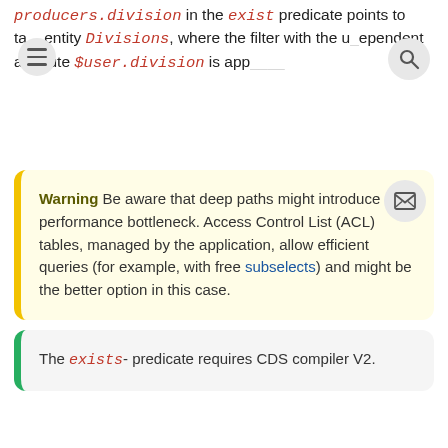producers.division in the exist predicate points to target entity Divisions, where the filter with the user-dependent attribute $user.division is applied.
Warning Be aware that deep paths might introduce a performance bottleneck. Access Control List (ACL) tables, managed by the application, allow efficient queries (for example, with free subselects) and might be the better option in this case.
The exists- predicate requires CDS compiler V2.